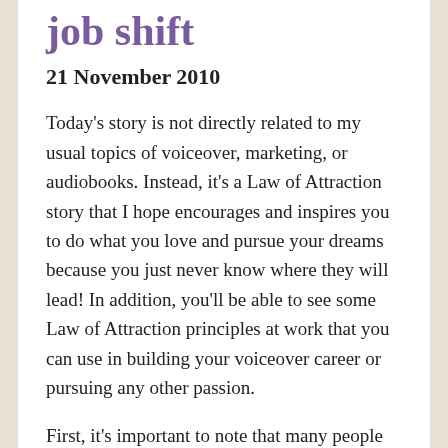job shift
21 November 2010
Today’s story is not directly related to my usual topics of voiceover, marketing, or audiobooks. Instead, it’s a Law of Attraction story that I hope encourages and inspires you to do what you love and pursue your dreams because you just never know where they will lead! In addition, you’ll be able to see some Law of Attraction principles at work that you can use in building your voiceover career or pursuing any other passion.
First, it’s important to note that many people confuse the Law of Attraction with instant gratification. It’s not enough to WANT it. You have to DO SOMETHING about it! If you look at